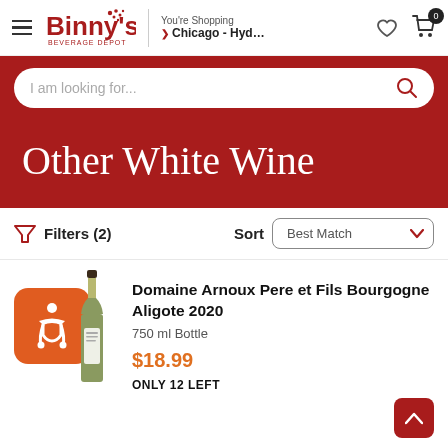Binny's Beverage Depot — You're Shopping Chicago - Hyd...
I am looking for...
Other White Wine
Filters (2)  Sort  Best Match
Domaine Arnoux Pere et Fils Bourgogne Aligote 2020
750 ml Bottle
$18.99
ONLY 12 LEFT